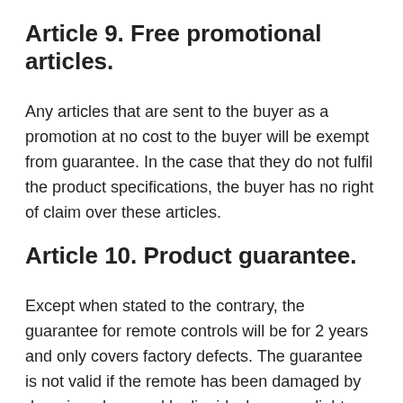Article 9. Free promotional articles.
Any articles that are sent to the buyer as a promotion at no cost to the buyer will be exempt from guarantee. In the case that they do not fulfil the product specifications, the buyer has no right of claim over these articles.
Article 10. Product guarantee.
Except when stated to the contrary, the guarantee for remote controls will be for 2 years and only covers factory defects. The guarantee is not valid if the remote has been damaged by dropping; damaged by liquids; has any slight damage to the body of the remote, shows any signs of wear or if it appears to have been tampered with or used. The guarantee begins on the date of dispatch and is limited exclusively to the repair of the remote or its substitution by one the same or its equivalent. The delivery charges of the remote when using the guarantee will be